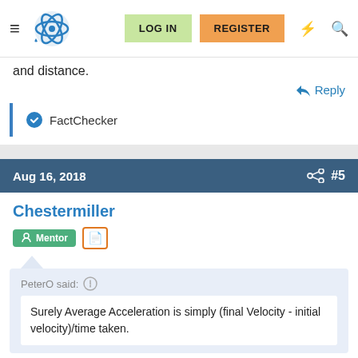LOG IN | REGISTER
and distance.
Reply
FactChecker
Aug 16, 2018  #5
Chestermiller
Mentor
PeterO said:
Surely Average Acceleration is simply (final Velocity - initial velocity)/time taken.